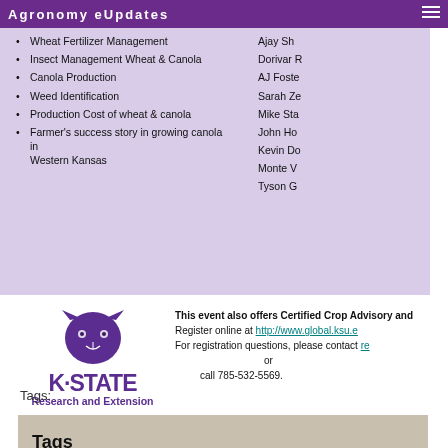Agronomy eUpdates
Wheat Fertilizer Management
Insect Management Wheat & Canola
Canola Production
Weed Identification
Production Cost of wheat & canola
Farmer's success story in growing canola in Western Kansas
Ajay Sh[cut off]
Dorivar [cut off]
AJ Foste[cut off]
Sarah Ze[cut off]
Mike Sta[cut off]
John Ho[cut off]
Kevin Do[cut off]
Monte V[cut off]
Tyson G[cut off]
[Figure (logo): K-State Research and Extension logo with wildcat mascot]
This event also offers Certified Crop Advisory and
Register online at http://www.global.ksu.e...
For registration questions, please contact re...
or
call 785-532-5569.
Kansas State University is committed to making its services, activities and programs accessible to all participants. If you have special requirements, contact AJ Foster, 620-275-9164. Kansas State Agricultural Experiment Station and Cooperative Extension Service. K-State Research and Extension is an equal opportunity provider and employer.
Tags:
Tags